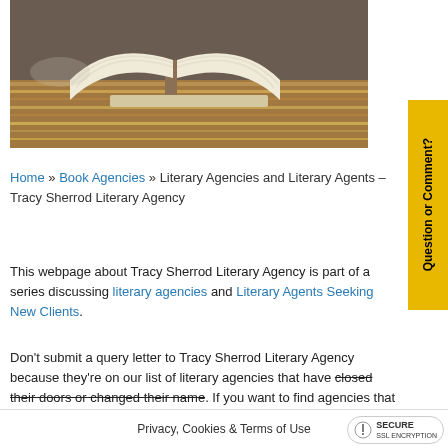[Figure (photo): Open book lying on a wooden table with dark background]
Home » Book Agencies » Literary Agencies and Literary Agents – Tracy Sherrod Literary Agency
This webpage about Tracy Sherrod Literary Agency is part of a series discussing literary agencies and Literary Agents Seeking New Clients.
Don't submit a query letter to Tracy Sherrod Literary Agency because they're on our list of literary agencies that have closed their doors or changed their name. If you want to find agencies that be can
Privacy, Cookies & Terms of Use